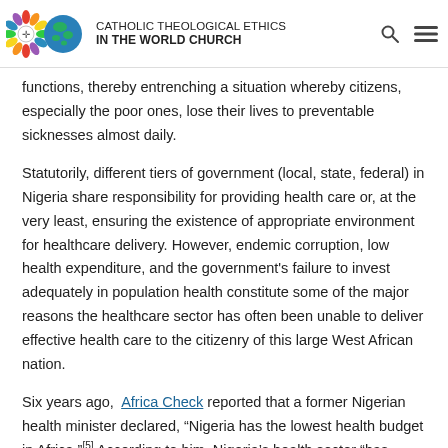CATHOLIC THEOLOGICAL ETHICS IN THE WORLD CHURCH
functions, thereby entrenching a situation whereby citizens, especially the poor ones, lose their lives to preventable sicknesses almost daily.
Statutorily, different tiers of government (local, state, federal) in Nigeria share responsibility for providing health care or, at the very least, ensuring the existence of appropriate environment for healthcare delivery. However, endemic corruption, low health expenditure, and the government's failure to invest adequately in population health constitute some of the major reasons the healthcare sector has often been unable to deliver effective health care to the citizenry of this large West African nation.
Six years ago, Africa Check reported that a former Nigerian health minister declared, "Nigeria has the lowest health budget in Africa."[5] According to him, Nigeria's health sector "has suffered from chronic underfunding for many years now."[6] To underscore how grossly